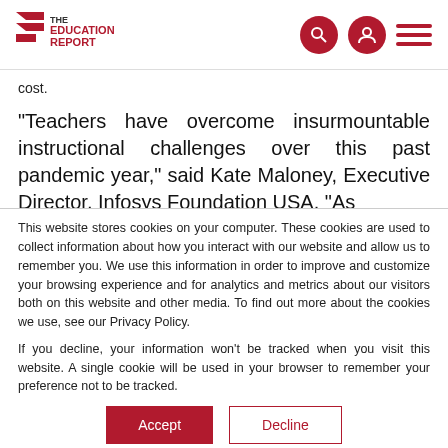[Figure (logo): The Education Report logo with red chevron/arrow graphic and text]
cost.
"Teachers have overcome insurmountable instructional challenges over this past pandemic year," said Kate Maloney, Executive Director, Infosys Foundation USA. "As
This website stores cookies on your computer. These cookies are used to collect information about how you interact with our website and allow us to remember you. We use this information in order to improve and customize your browsing experience and for analytics and metrics about our visitors both on this website and other media. To find out more about the cookies we use, see our Privacy Policy.
If you decline, your information won’t be tracked when you visit this website. A single cookie will be used in your browser to remember your preference not to be tracked.